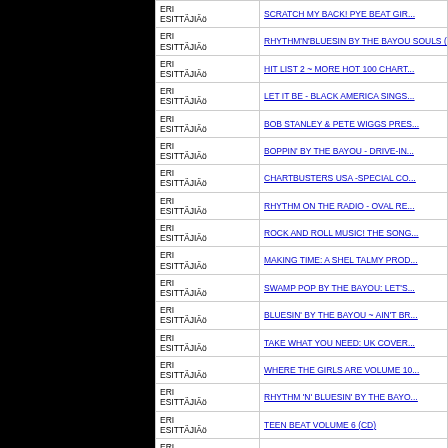| Artist | Title |
| --- | --- |
| ERI ESITTÄJIÄö | SCRATCH MY BACK! PYE BEAT GIR... |
| ERI ESITTÄJIÄö | RHYTHM'N'BLUESIN BY THE BAYOU SOULS (15) (CD) |
| ERI ESITTÄJIÄö | HIT LIST 2 ~ MORE HOT 100 CHART... |
| ERI ESITTÄJIÄö | LET IT BE - BLACK AMERICA SINGS... |
| ERI ESITTÄJIÄö | BOB STANLEY & PETE WIGGS PRES... |
| ERI ESITTÄJIÄö | BOPPIN' BY THE BAYOU - DRIVE-IN... |
| ERI ESITTÄJIÄö | CHARTBUSTERS USA -SPECIAL CO... |
| ERI ESITTÄJIÄö | RHYTHM ON THE RADIO - OVAL RE... |
| ERI ESITTÄJIÄö | ROCK AND ROLL MUSIC! THE SONG... |
| ERI ESITTÄJIÄö | MAKING TIME: A SHEL TALMY PROD... |
| ERI ESITTÄJIÄö | SWAMP POP BY THE BAYOU: LET'S... |
| ERI ESITTÄJIÄö | BLUESIN' BY THE BAYOU ~ AIN'T BR... |
| ERI ESITTÄJIÄö | TAKE WHAT YOU NEED: UK COVER... |
| ERI ESITTÄJIÄö | WHERE THE GIRLS ARE VOLUME 10... |
| ERI ESITTÄJIÄö | RHYTHM 'N' BLUESIN' BY THE BAYO... |
| ERI ESITTÄJIÄö | TEEN BEAT VOLUME 6 (CD) |
| ERI ESITTÄJIÄö | BOB STANLEY / PETE WIGGS PRES... |
| ERI ESITTÄJIÄö | BOPPIN' BY THE BAYOU: FLIP, FLOP... |
| ERI ESITTÄJIÄö | BOB STANLEY & PETE WIGGS PRE... |